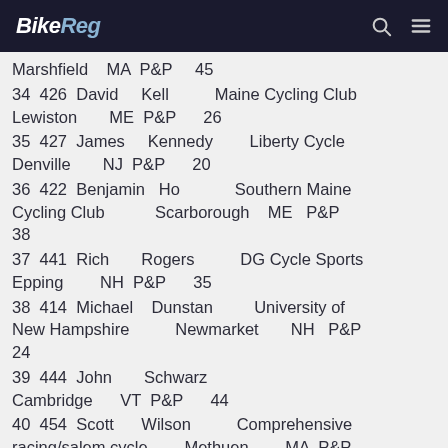BikeReg
Marshfield  MA  P&P  45
34  426  David  Kell  Maine Cycling Club  Lewiston  ME  P&P  26
35  427  James  Kennedy  Liberty Cycle  Denville  NJ  P&P  20
36  422  Benjamin  Ho  Southern Maine Cycling Club  Scarborough  ME  P&P  38
37  441  Rich  Rogers  DG Cycle Sports  Epping  NH  P&P  35
38  414  Michael  Dunstan  University of New Hampshire  Newmarket  NH  P&P  24
39  444  John  Schwarz  Cambridge  VT  P&P  44
40  454  Scott  Wilson  Comprehensive racing/salem cycle  Methuen  MA  P&P  39